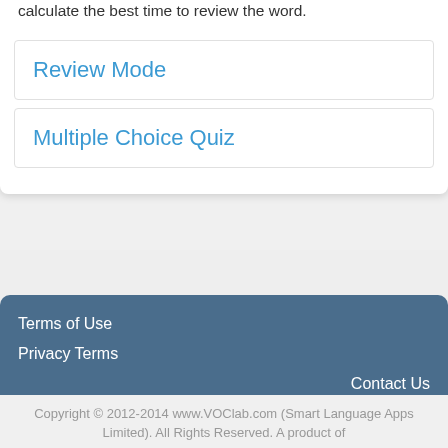calculate the best time to review the word.
Review Mode
Multiple Choice Quiz
Terms of Use
Privacy Terms
Contact Us
Copyright © 2012-2014 www.VOClab.com (Smart Language Apps Limited). All Rights Reserved. A product of